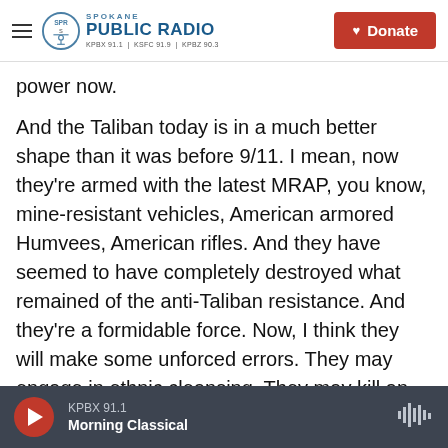Spokane Public Radio — KPBX 91.1 | KSFC 91.9 | KPBZ 90.3
power now.
And the Taliban today is in a much better shape than it was before 9/11. I mean, now they're armed with the latest MRAP, you know, mine-resistant vehicles, American armored Humvees, American rifles. And they have seemed to have completely destroyed what remained of the anti-Taliban resistance. And they're a formidable force. Now, I think they will make some unforced errors. They may engage in ethnic cleansing. They may kill an American or Americans. They may, you know, kind of nurture some kind of terrorist attack that's
KPBX 91.1 — Morning Classical